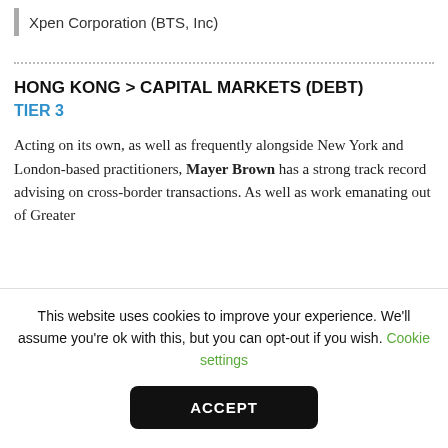Xpen Corporation (BTS, Inc)
HONG KONG > CAPITAL MARKETS (DEBT)
TIER 3
Acting on its own, as well as frequently alongside New York and London-based practitioners, Mayer Brown has a strong track record advising on cross-border transactions. As well as work emanating out of Greater
This website uses cookies to improve your experience. We'll assume you're ok with this, but you can opt-out if you wish. Cookie settings
ACCEPT